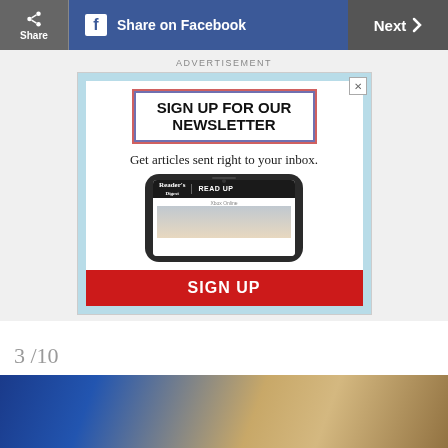Share  |  Share on Facebook  |  Next >
ADVERTISEMENT
[Figure (screenshot): Advertisement banner for Reader's Digest newsletter signup. Shows 'SIGN UP FOR OUR NEWSLETTER' headline in decorative border, 'Get articles sent right to your inbox.' subtext, a smartphone showing Reader's Digest 'READ UP' app interface, and a red 'SIGN UP' button.]
3 /10
[Figure (photo): Photo of two women at bottom of page, one in a blue dress on the left, another with curly blonde hair on the right.]